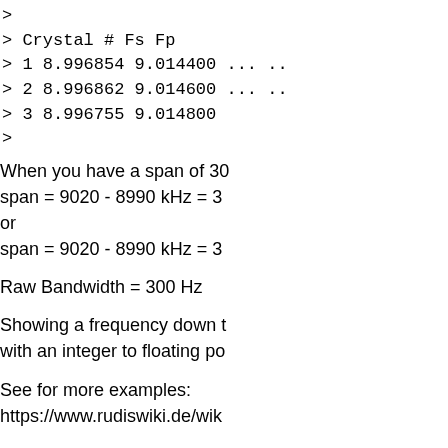>
> Crystal # Fs Fp
> 1 8.996854 9.014400 ... ...
> 2 8.996862 9.014600 ... ...
> 3 8.996755 9.014800
>
When you have a span of 30 kHz span = 9020 - 8990 kHz = 3 or span = 9020 - 8990 kHz = 3
Raw Bandwidth = 300 Hz
Showing a frequency down with an integer to floating po
See for more examples:
https://www.rudiswiki.de/wik